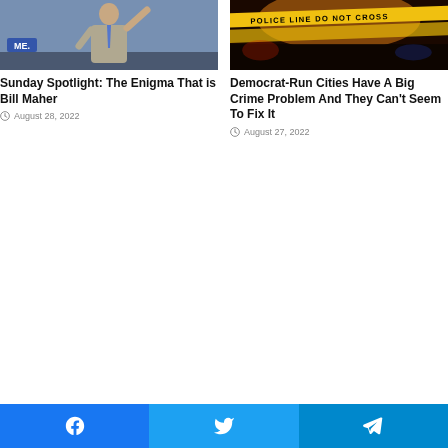[Figure (photo): Man in suit raising hand, appears to be on a TV game show set with blue background]
Sunday Spotlight: The Enigma That is Bill Maher
August 28, 2022
[Figure (photo): Police line do not cross yellow tape at night crime scene]
Democrat-Run Cities Have A Big Crime Problem And They Can't Seem To Fix It
August 27, 2022
[Figure (other): Social media share buttons: Facebook, Twitter, Telegram]